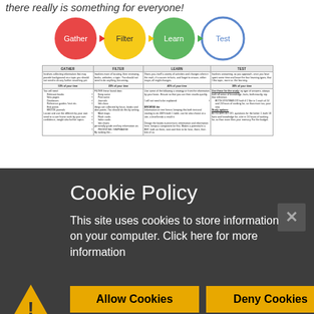there really is something for everyone!
[Figure (flowchart): A four-step flowchart with overlapping colored circles: Gather (red), Filter (yellow), Learn (green), Test (blue), connected by arrows.]
| GATHER | FILTER | LEARN | TEST |
| --- | --- | --- | --- |
| Involves... | Involves... | Involves... | Involves... |
| 10% of your time | 20% of your time | 40% of your time | 30% of your time |
| You will need: | FILTER these... | Use some of the following... | Use these for the.. |
Cookie Policy
This site uses cookies to store information on your computer. Click here for more information
Allow Cookies
Deny Cookies